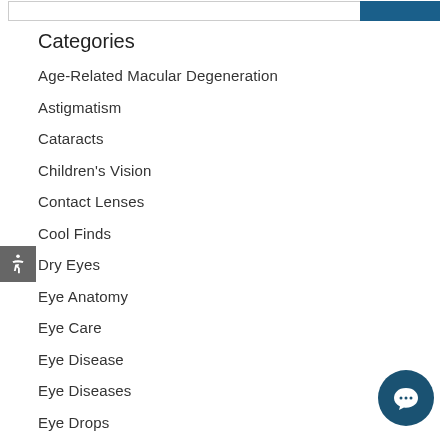Categories
Age-Related Macular Degeneration
Astigmatism
Cataracts
Children's Vision
Contact Lenses
Cool Finds
Dry Eyes
Eye Anatomy
Eye Care
Eye Disease
Eye Diseases
Eye Drops
Eye Freckle